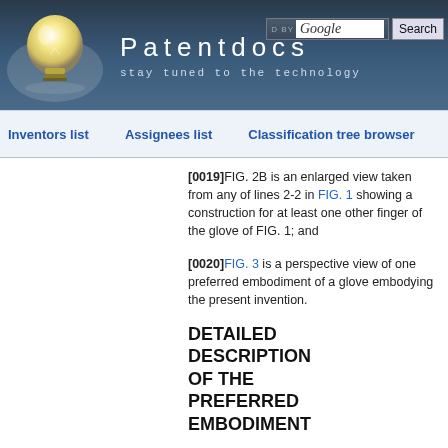[Figure (logo): Patentdocs website header with lightbulb logo, site title 'Patentdocs', subtitle 'stay tuned to the technology', and a Google search box with Search button]
Inventors list   Assignees list   Classification tree browser
[0019]FIG. 2B is an enlarged view taken from any of lines 2-2 in FIG. 1 showing a construction for at least one other finger of the glove of FIG. 1; and
[0020]FIG. 3 is a perspective view of one preferred embodiment of a glove embodying the present invention.
DETAILED DESCRIPTION OF THE PREFERRED EMBODIMENT